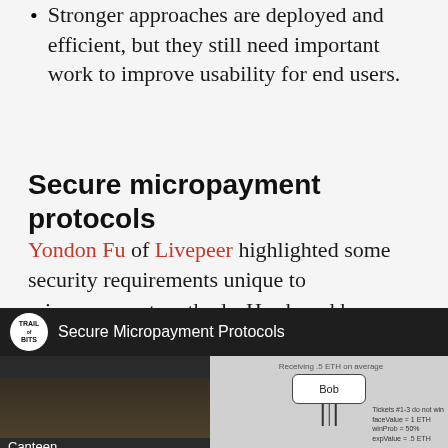Stronger approaches are deployed and efficient, but they still need important work to improve usability for end users.
Secure micropayment protocols
Yondon Fu of Livepeer highlighted some security requirements unique to micropayment methods. He shared how Livepeer is making micropayments securely scale.
[Figure (screenshot): Video thumbnail showing 'Secure Micropayment Protocols' talk with Trail of Bits logo, a keyboard image labeled 'Canteen' on the left, and a diagram with a 'Bob' box and arrows with ticket information on the right.]